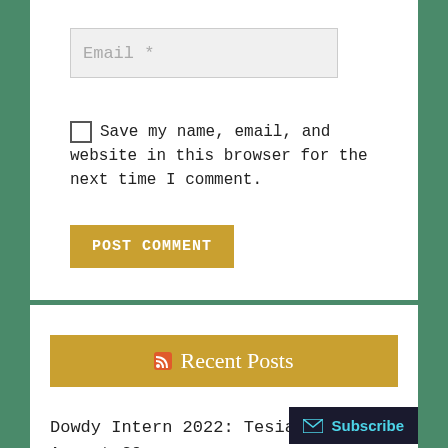Email *
Save my name, email, and website in this browser for the next time I comment.
POST COMMENT
Recent Posts
Dowdy Intern 2022: Tesia Juraschek August 29, 2022
Reminiscing About My Time at Poage Lib…
Subscribe